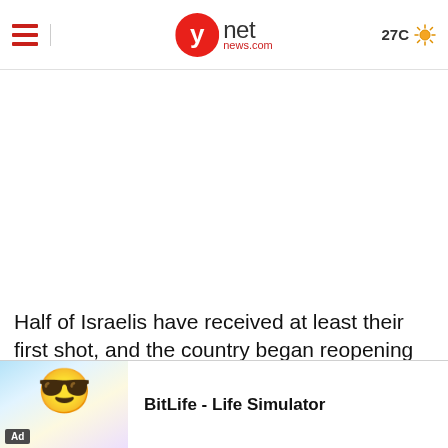ynet news.com | 27C
Half of Israelis have received at least their first shot, and the country began reopening its economy this week after a year of lockdowns and remote working.
But some activities have shown a difficulty to th...
[Figure (screenshot): Advertisement banner for BitLife - Life Simulator app, showing an animated character with sunglasses and the text 'BitLife - Life Simulator']